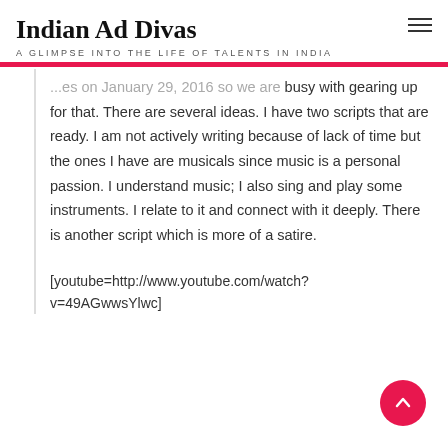Indian Ad Divas
A GLIMPSE INTO THE LIFE OF TALENTS IN INDIA
...releases on January 29, 2016 so we are busy with gearing up for that. There are several ideas. I have two scripts that are ready. I am not actively writing because of lack of time but the ones I have are musicals since music is a personal passion. I understand music; I also sing and play some instruments. I relate to it and connect with it deeply. There is another script which is more of a satire.
[youtube=http://www.youtube.com/watch?v=49AGwwsYlwc]